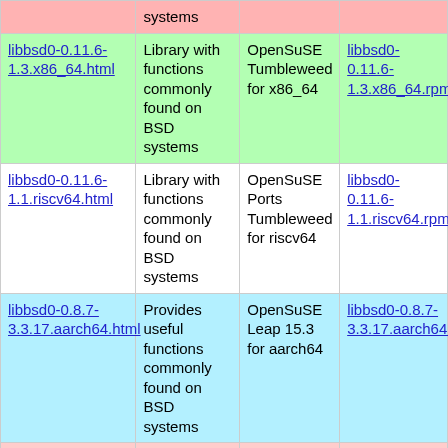| Package | Description | Distribution | Download |
| --- | --- | --- | --- |
|  | systems |  |  |
| libbsd0-0.11.6-1.3.x86_64.html | Library with functions commonly found on BSD systems | OpenSuSE Tumbleweed for x86_64 | libbsd0-0.11.6-1.3.x86_64.rpm |
| libbsd0-0.11.6-1.1.riscv64.html | Library with functions commonly found on BSD systems | OpenSuSE Ports Tumbleweed for riscv64 | libbsd0-0.11.6-1.1.riscv64.rpm |
| libbsd0-0.8.7-3.3.17.aarch64.html | Provides useful functions commonly found on BSD systems | OpenSuSE Leap 15.3 for aarch64 | libbsd0-0.8.7-3.3.17.aarch64.rpm |
|  | Provides useful |  |  |